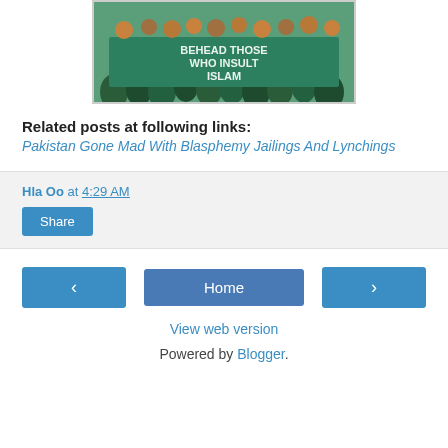[Figure (photo): Crowd of people holding a large green banner that reads 'BEHEAD THOSE WHO INSULT ISLAM']
Related posts at following links:
Pakistan Gone Mad With Blasphemy Jailings And Lynchings
Hla Oo at 4:29 AM
Share
Home
View web version
Powered by Blogger.